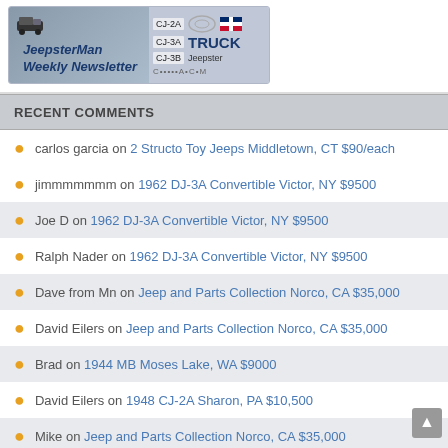[Figure (logo): JeepsterMan Weekly Newsletter banner with truck jeep logo and CJ-2A, CJ-3A, CJ-3B labels]
RECENT COMMENTS
carlos garcia on 2 Structo Toy Jeeps Middletown, CT $90/each
jimmmmmmm on 1962 DJ-3A Convertible Victor, NY $9500
Joe D on 1962 DJ-3A Convertible Victor, NY $9500
Ralph Nader on 1962 DJ-3A Convertible Victor, NY $9500
Dave from Mn on Jeep and Parts Collection Norco, CA $35,000
David Eilers on Jeep and Parts Collection Norco, CA $35,000
Brad on 1944 MB Moses Lake, WA $9000
David Eilers on 1948 CJ-2A Sharon, PA $10,500
Mike on Jeep and Parts Collection Norco, CA $35,000
Jim on 1948 CJ-2A Sharon, PA $10,500
Barney Goodwin on 1970 CJ-5 Felton, CA $7650
Barney Goodwin on 1970 CJ-5 Felton, CA $7650